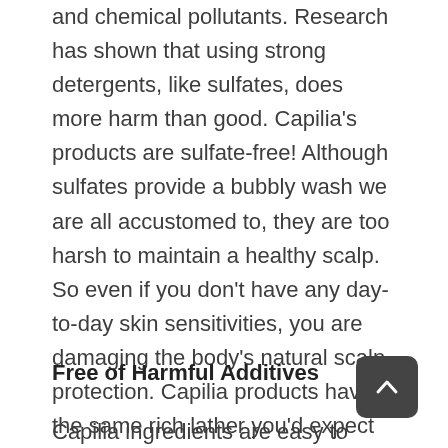and chemical pollutants. Research has shown that using strong detergents, like sulfates, does more harm than good. Capilia’s products are sulfate-free! Although sulfates provide a bubbly wash we are all accustomed to, they are too harsh to maintain a healthy scalp. So even if you don’t have any day-to-day skin sensitivities, you are damaging the body’s natural scalp protection. Capilia products have the same rich lather you’d expect from your drugstore brand haircare, yet only contain gentle cleansing plant-based ingredients.
Free of Harmful Additives
Capilia ingredients are easy to recognize. The